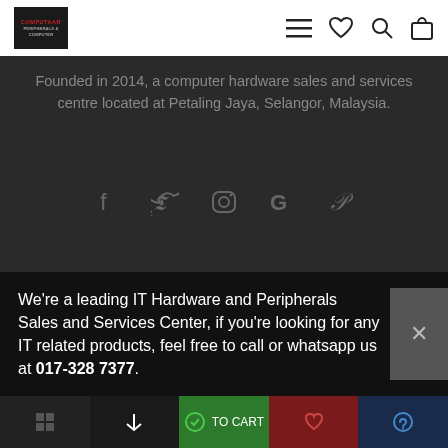Computaar - navigation bar with logo, hamburger menu, heart, search, and bag icons
Founded in 2014, a computer hardware sales and services centre located at Petaling Jaya, Selangor, Malaysia.
[Figure (infographic): Social media icons row: Facebook, Twitter, Instagram, Google, Pinterest]
ABOUT US
> About Us
Products
We're a leading IT Hardware and Peripherals Sales and Services Center, if you're looking for any IT related products, feel free to call or whatsapp us at 017-328 7377.